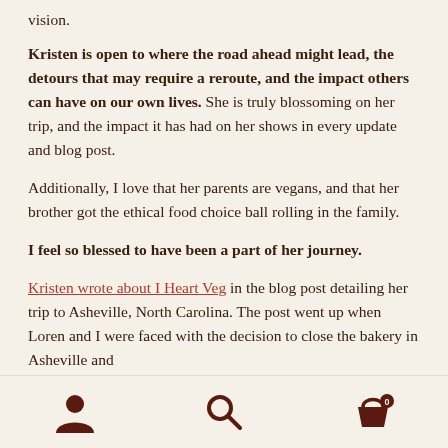vision.
Kristen is open to where the road ahead might lead, the detours that may require a reroute, and the impact others can have on our own lives. She is truly blossoming on her trip, and the impact it has had on her shows in every update and blog post.
Additionally, I love that her parents are vegans, and that her brother got the ethical food choice ball rolling in the family.
I feel so blessed to have been a part of her journey.
Kristen wrote about I Heart Veg in the blog post detailing her trip to Asheville, North Carolina. The post went up when Loren and I were faced with the decision to close the bakery in Asheville and
[navigation icons: user, search, cart]